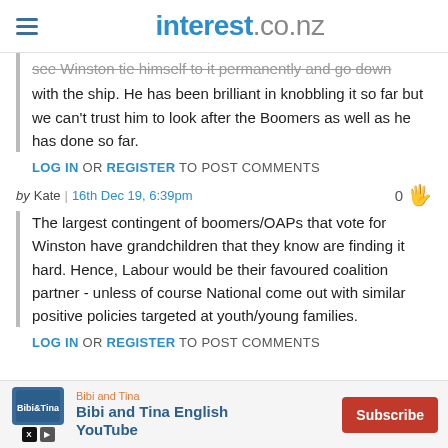interest.co.nz
see Winston tie himself to it permanently and go down with the ship. He has been brilliant in knobbling it so far but we can't trust him to look after the Boomers as well as he has done so far.
LOG IN OR REGISTER TO POST COMMENTS
by Kate | 16th Dec 19, 6:39pm  0
The largest contingent of boomers/OAPs that vote for Winston have grandchildren that they know are finding it hard. Hence, Labour would be their favoured coalition partner - unless of course National come out with similar positive policies targeted at youth/young families.
LOG IN OR REGISTER TO POST COMMENTS
[Figure (infographic): Advertisement banner for Bibi and Tina English YouTube channel with Subscribe button]